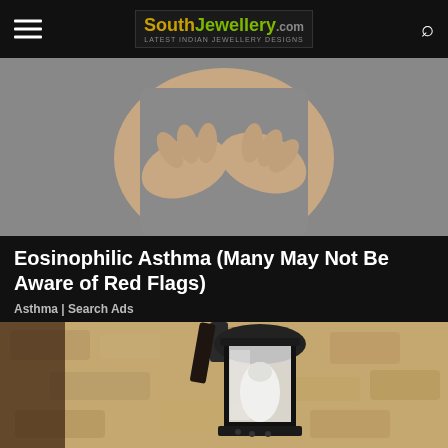SouthJewellery.com – Latest Indian Jewellery Designs
[Figure (photo): Close-up of a person in grey clothing holding their abdomen with both hands, suggesting stomach pain]
Eosinophilic Asthma (Many May Not Be Aware of Red Flags)
Asthma | Search Ads
[Figure (photo): Close-up photo of a vintage black metal outdoor wall lantern with a glass globe light bulb, mounted on a textured stone or stucco wall]